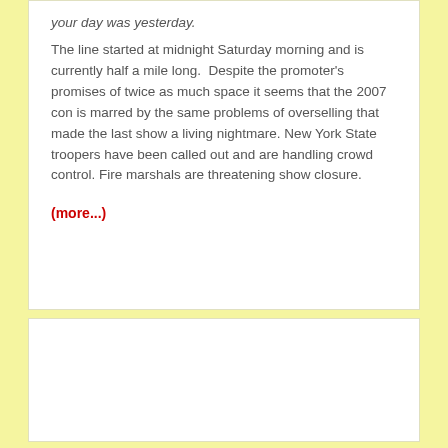your day was yesterday.
The line started at midnight Saturday morning and is currently half a mile long.  Despite the promoter's promises of twice as much space it seems that the 2007 con is marred by the same problems of overselling that made the last show a living nightmare. New York State troopers have been called out and are handling crowd control. Fire marshals are threatening show closure.
(more...)